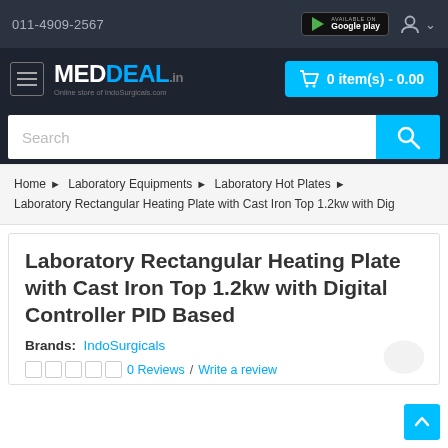011-4909-2567
MedDeal.in Online store of IndoSurgicals.com | 0 item(s) - 0.00
Search
Home > Laboratory Equipments > Laboratory Hot Plates > Laboratory Rectangular Heating Plate with Cast Iron Top 1.2kw with Dig
Laboratory Rectangular Heating Plate with Cast Iron Top 1.2kw with Digital Controller PID Based
Brands: IndoSurgicals
0 Reviews / Write a review